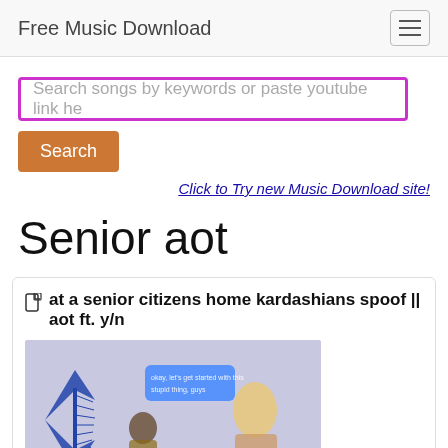Free Music Download
Search songs by keywords or paste youtube link here
Search
Click to Try new Music Download site!
Senior aot
at a senior citizens home kardashians spoof || aot ft. y/n
[Figure (screenshot): Thumbnail image showing anime characters and a blonde woman with text 'KARDASHIANS AT A SENIOR CITIZENS HOME' on a purple background]